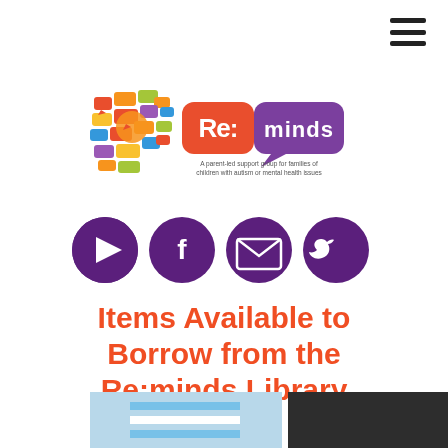[Figure (logo): Re:minds logo - colorful speech bubble brain graphic with orange/red Re: text block and purple minds text block, subtitle: A parent-led support group for families of children with autism or mental health issues]
[Figure (infographic): Four purple circular social media icons in a row: YouTube play button, Facebook f, envelope/email, Twitter bird]
Items Available to Borrow from the Re:minds Library
[Figure (photo): Child in blue and white striped long-sleeve shirt with arms spread wide, blue trousers]
[Figure (photo): Dark/black rectangle image placeholder]